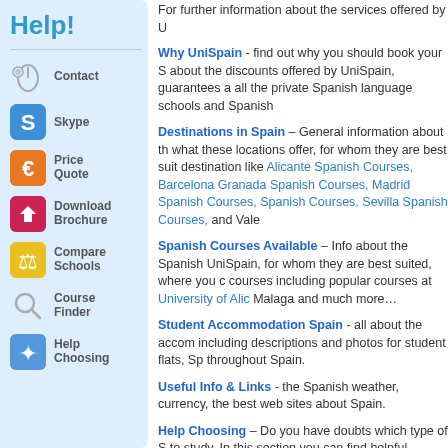Help!
Contact
Skype
Price Quote
Download Brochure
Compare Schools
Course Finder
Help Choosing
For further information about the services offered by U
Why UniSpain - find out why you should book your S about the discounts offered by UniSpain, guarantees a all the private Spanish language schools and Spanish
Destinations in Spain – General information about th what these locations offer, for whom they are best suit destination like Alicante Spanish Courses, Barcelona Granada Spanish Courses, Madrid Spanish Courses, Spanish Courses, Sevilla Spanish Courses, and Vale
Spanish Courses Available – Info about the Spanish UniSpain, for whom they are best suited, where you c courses including popular courses at University of Alic Malaga and much more…
Student Accommodation Spain - all about the accom including descriptions and photos for student flats, Sp throughout Spain.
Useful Info & Links - the Spanish weather, currency, the best web sites about Spain.
Help Choosing – Do you have doubts which type of S to study. In this section you can find helpful informatio